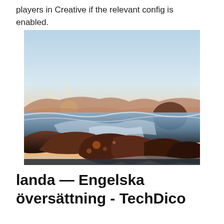players in Creative if the relevant config is enabled.
[Figure (photo): Coastal sunset scene with rocks in the foreground, ocean waves, and warm golden sunlight breaking over mountains on the horizon under a light blue sky.]
landa — Engelska översättning - TechDico